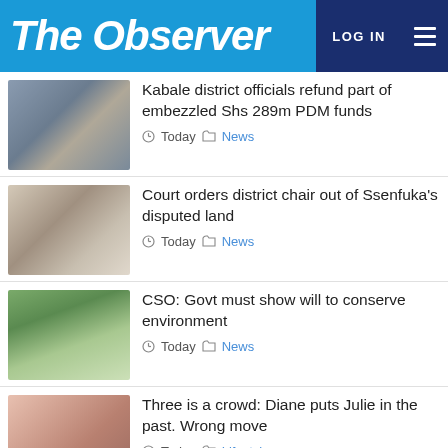The Observer | LOG IN
Kabale district officials refund part of embezzled Shs 289m PDM funds
Today  News
Court orders district chair out of Ssenfuka's disputed land
Today  News
CSO: Govt must show will to conserve environment
Today  News
Three is a crowd: Diane puts Julie in the past. Wrong move
Today  Lifestyle
Rev Eduah spices food festival with Ghanaian flavours